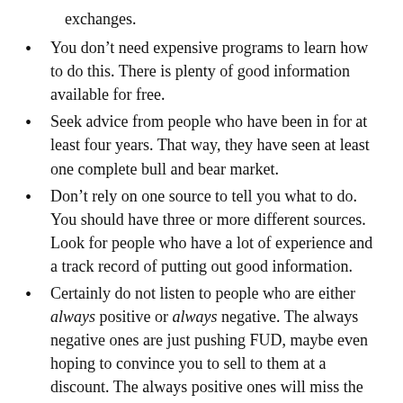exchanges.
You don't need expensive programs to learn how to do this. There is plenty of good information available for free.
Seek advice from people who have been in for at least four years. That way, they have seen at least one complete bull and bear market.
Don't rely on one source to tell you what to do. You should have three or more different sources. Look for people who have a lot of experience and a track record of putting out good information.
Certainly do not listen to people who are either always positive or always negative. The always negative ones are just pushing FUD, maybe even hoping to convince you to sell to them at a discount. The always positive ones will miss the signs that a bear market is beginning.